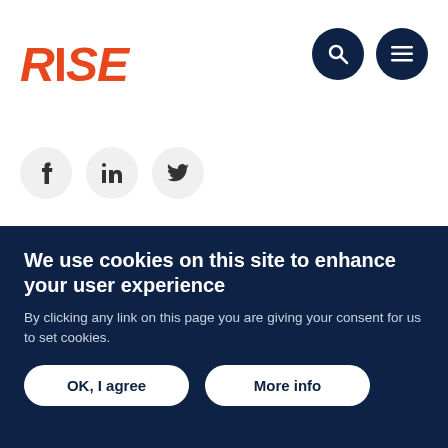RISE
[Figure (logo): RISE logo in orange/red italic bold text, with two dark navy circular navigation icons (search and menu) on the right]
[Figure (infographic): Three circular social media buttons: Facebook (f), LinkedIn (in), Twitter (bird icon)]
Working Paper   22/097
Understanding the Influences on Girls' Primary Education in Ethiopia from the
We use cookies on this site to enhance your user experience
By clicking any link on this page you are giving your consent for us to set cookies.
OK, I agree
More info